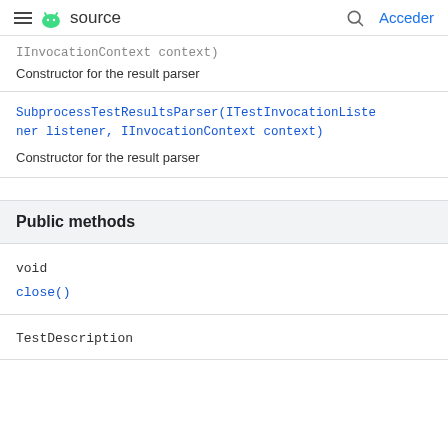source  Acceder
IInvocationContext context)
Constructor for the result parser
SubprocessTestResultsParser(ITestInvocationListener listener, IInvocationContext context)
Constructor for the result parser
Public methods
void
close()
TestDescription